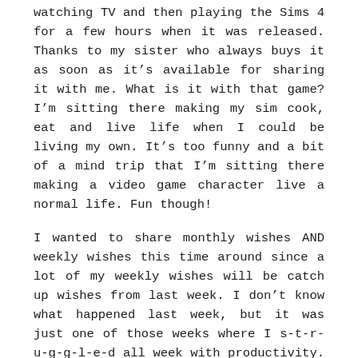watching TV and then playing the Sims 4 for a few hours when it was released. Thanks to my sister who always buys it as soon as it’s available for sharing it with me. What is it with that game? I’m sitting there making my sim cook, eat and live life when I could be living my own. It’s too funny and a bit of a mind trip that I’m sitting there making a video game character live a normal life. Fun though!
I wanted to share monthly wishes AND weekly wishes this time around since a lot of my weekly wishes will be catch up wishes from last week. I don’t know what happened last week, but it was just one of those weeks where I s-t-r-u-g-g-l-e-d all week with productivity. I felt like I was always working, but not getting anything done. I’m fixing that this week!
LAST WEEK’S WISHES
1. September editorial calendar.